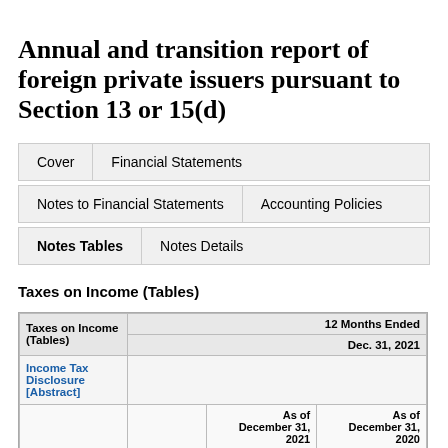Annual and transition report of foreign private issuers pursuant to Section 13 or 15(d)
Cover | Financial Statements
Notes to Financial Statements | Accounting Policies
Notes Tables | Notes Details
Taxes on Income (Tables)
| Taxes on Income (Tables) | 12 Months Ended |  |
| --- | --- | --- |
|  | Dec. 31, 2021 |  |
| Income Tax Disclosure [Abstract] |  |  |
|  | As of December 31, 2021 | As of December 31, 2020 |
| Schedule of deferred tax assets | Net loss | 14,113 | 11,995 |